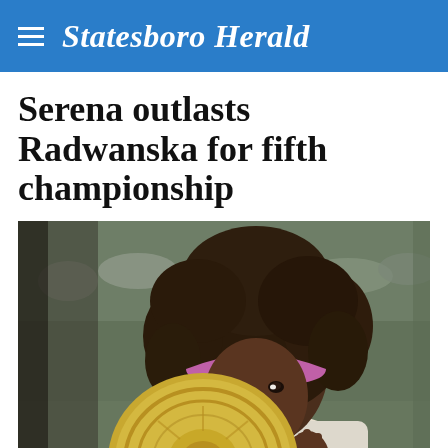Statesboro Herald
Serena outlasts Radwanska for fifth championship
[Figure (photo): Serena Williams holding the Wimbledon championship trophy (a large gilded plate), wearing a white outfit and a pink Nike headband, smiling at the camera. Blurred crowd visible in the background.]